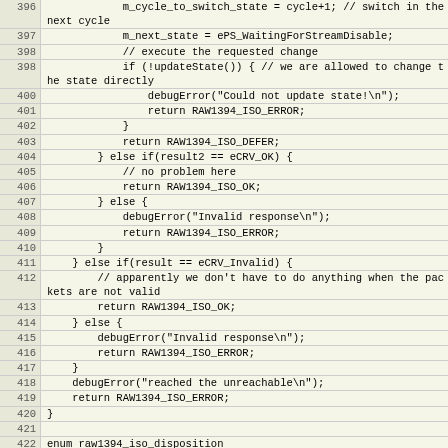Source code listing lines 396-424
| line | code |
| --- | --- |
| 396 |             m_cycle_to_switch_state = cycle+1; // switch in the next cycle |
| 397 |             m_next_state = ePS_WaitingForStreamDisable; |
| 398 |             // execute the requested change |
| 398 |             if (!updateState()) { // we are allowed to change the state directly |
| 400 |                 debugError("Could not update state!\n"); |
| 401 |                 return RAW1394_ISO_ERROR; |
| 402 |             } |
| 403 |             return RAW1394_ISO_DEFER; |
| 404 |         } else if(result2 == eCRV_OK) { |
| 405 |             // no problem here |
| 406 |             return RAW1394_ISO_OK; |
| 407 |         } else { |
| 408 |             debugError("Invalid response\n"); |
| 409 |             return RAW1394_ISO_ERROR; |
| 410 |         } |
| 411 |     } else if(result == eCRV_Invalid) { |
| 412 |         // apparently we don't have to do anything when the packets are not valid |
| 413 |         return RAW1394_ISO_OK; |
| 414 |     } else { |
| 415 |         debugError("Invalid response\n"); |
| 416 |         return RAW1394_ISO_ERROR; |
| 417 |     } |
| 418 |     debugError("reached the unreachable\n"); |
| 419 |     return RAW1394_ISO_ERROR; |
| 420 | } |
| 421 |  |
| 422 | enum raw1394_iso_disposition |
| 423 | StreamProcessor::getPacket(unsigned char *data, unsigned int *length, |
| 424 |                            unsigned char *tag, unsigned |